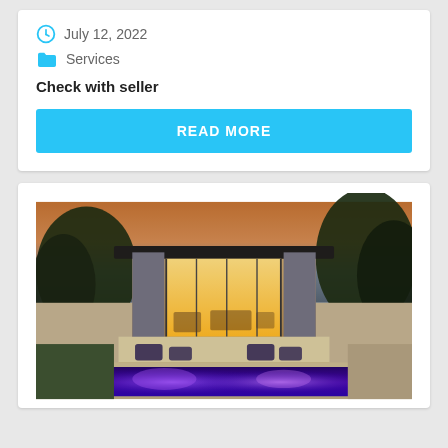July 12, 2022
Services
Check with seller
READ MORE
[Figure (photo): Exterior dusk photo of a modern house with illuminated interior, pool in foreground with purple underwater lighting, surrounded by trees]